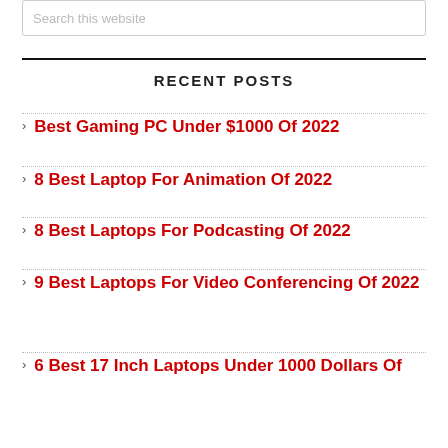Search this website
RECENT POSTS
Best Gaming PC Under $1000 Of 2022
8 Best Laptop For Animation Of 2022
8 Best Laptops For Podcasting Of 2022
9 Best Laptops For Video Conferencing Of 2022
6 Best 17 Inch Laptops Under 1000 Dollars Of